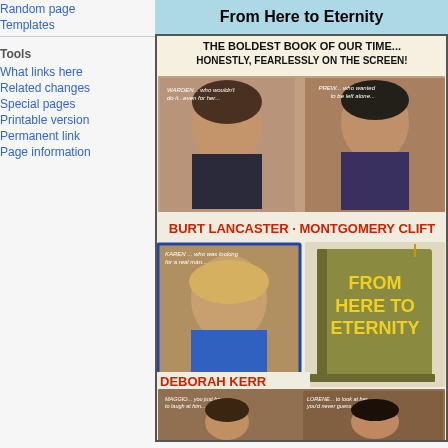Random page
Templates
Tools
What links here
Related changes
Special pages
Printable version
Permanent link
Page information
From Here to Eternity
[Figure (photo): Movie poster for 'From Here to Eternity' featuring text 'THE BOLDEST BOOK OF OUR TIME... HONESTLY, FEARLESSLY ON THE SCREEN!' with actor portraits of Burt Lancaster, Montgomery Clift, and Deborah Kerr, plus the film title displayed on a book graphic.]